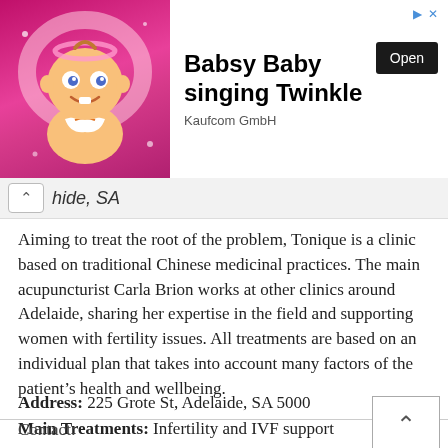[Figure (screenshot): Advertisement banner for 'Babsy Baby singing Twinkle' by Kaufcom GmbH with animated baby image, bold title text, and an Open button]
hide, SA
Aiming to treat the root of the problem, Tonique is a clinic based on traditional Chinese medicinal practices. The main acupuncturist Carla Brion works at other clinics around Adelaide, sharing her expertise in the field and supporting women with fertility issues. All treatments are based on an individual plan that takes into account many factors of the patient's health and wellbeing.
Address: 225 Grote St, Adelaide, SA 5000
Main Treatments: Infertility and IVF support
Contact: